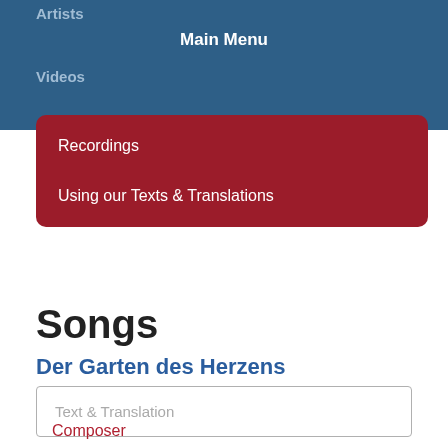Artists
Main Menu
Videos
Recordings
Using our Texts & Translations
Songs
Der Garten des Herzens
Text & Translation
Composer
Poet
Performances